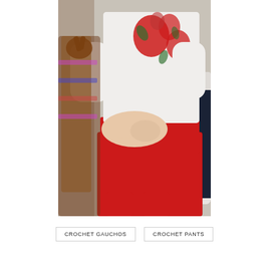[Figure (photo): A person sitting in a white chair wearing a white sweater with red floral pattern and red crochet pants/gauchos. A decorative wooden reindeer with tinsel is visible to the left.]
CROCHET GAUCHOS
CROCHET PANTS